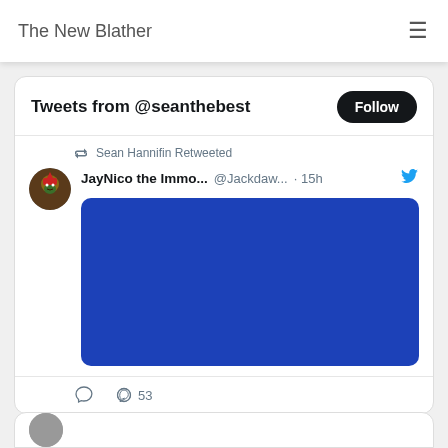The New Blather
Tweets from @seanthebest
Sean Hannifin Retweeted
JayNico the Immo... @Jackdaw... · 15h
[Figure (other): Blue solid color image block embedded in tweet]
53